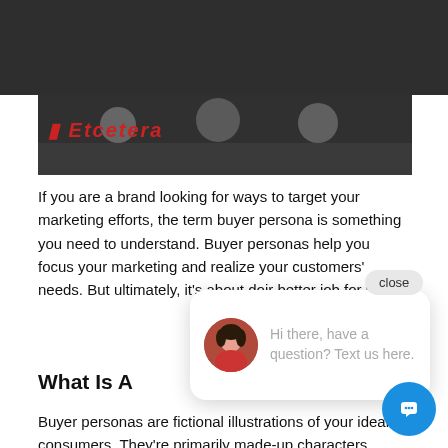[Figure (photo): Dark header bar with a partial photo showing people in a meeting or office setting, with red italic text overlay partially visible]
If you are a brand looking for ways to target your marketing efforts, the term buyer persona is something you need to understand. Buyer personas help you focus your marketing and realize your customers' needs. But ultimately, it's about doir better job for y
What Is A
[Figure (screenshot): Chat popup widget with a close button, an avatar of a woman, and the text 'Hi there, have a question? Text us here.' with a blue circular chat button in the bottom right.]
Buyer personas are fictional illustrations of your ideal consumers. They're primarily made-up characters representing the clients you'd like to target. Buyer personas created using market research and other